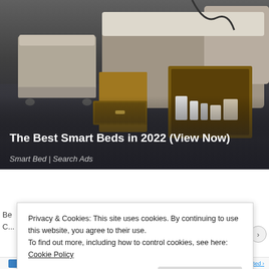[Figure (photo): Advertisement image showing a smart bed with storage drawers open, revealing compartments and items inside. The background is dark/grey gradient. A smart bed with beige/grey upholstery is shown with wooden storage drawers extended.]
The Best Smart Beds in 2022 (View Now)
Smart Bed | Search Ads
Privacy & Cookies: This site uses cookies. By continuing to use this website, you agree to their use.
To find out more, including how to control cookies, see here: Cookie Policy
Close and accept